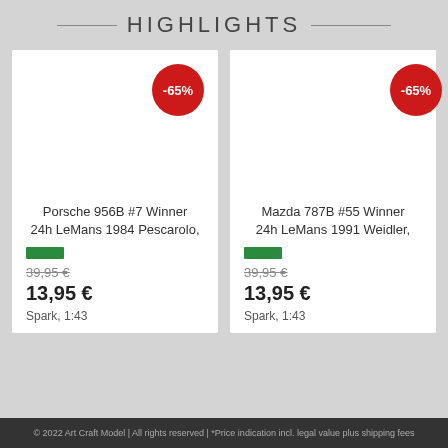HIGHLIGHTS
[Figure (photo): Product card for Porsche 956B #7 with -65% discount badge, white product image area]
Porsche 956B #7 Winner 24h LeMans 1984 Pescarolo,
39,95 €
13,95 €
Spark, 1:43
[Figure (photo): Product card for Mazda 787B #55 with -65% discount badge, white product image area]
Mazda 787B #55 Winner 24h LeMans 1991 Weidler,
39,95 €
13,95 €
Spark, 1:43
© 2022 Art Craft Model | All rights reserved | *Price indication incl. legal value plus shipping fees